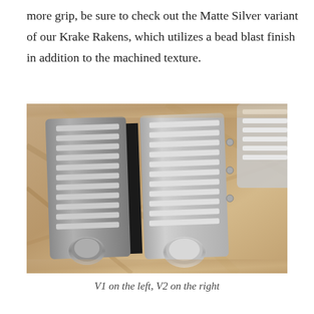more grip, be sure to check out the Matte Silver variant of our Krake Rakens, which utilizes a bead blast finish in addition to the machined texture.
[Figure (photo): Close-up photo of two Krake Raken butterfly knife handles side by side on a stone surface. The left handle (V1) is darker/grey and the right handle (V2) is silver/matte silver, both showing machined texture ridges along the spine.]
V1 on the left, V2 on the right